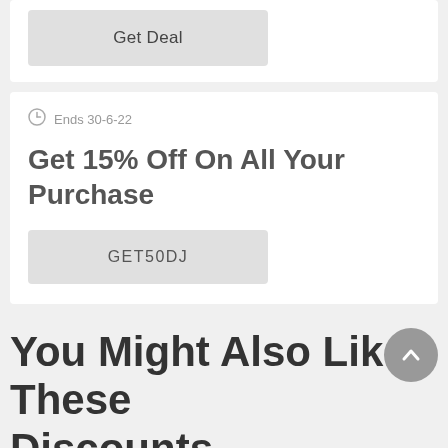[Figure (screenshot): Get Deal button — light grey rounded rectangle button with text 'Get Deal']
Ends 30-6-22
Get 15% Off On All Your Purchase
GET50DJ
You Might Also Like These Discounts
Ends 31-10-22